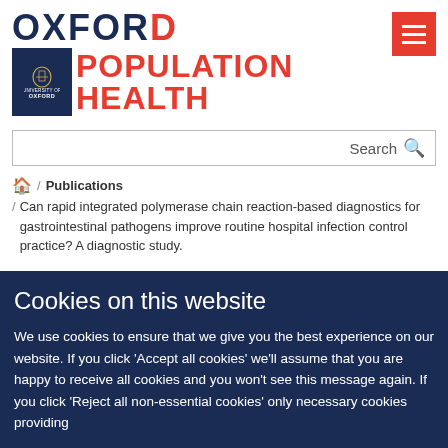[Figure (logo): Oxford Population Health logo with University of Oxford shield and text]
Search
🏠 / Publications / Can rapid integrated polymerase chain reaction-based diagnostics for gastrointestinal pathogens improve routine hospital infection control practice? A diagnostic study.
Cookies on this website
We use cookies to ensure that we give you the best experience on our website. If you click 'Accept all cookies' we'll assume that you are happy to receive all cookies and you won't see this message again. If you click 'Reject all non-essential cookies' only necessary cookies providing